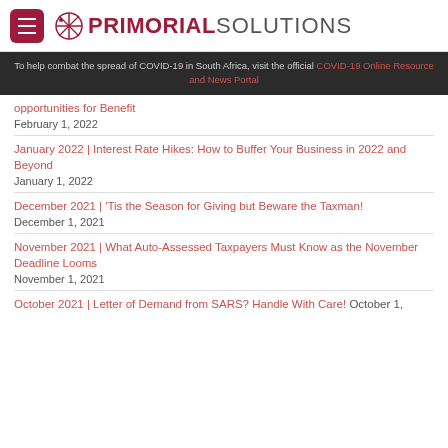PRIMORIAL SOLUTIONS
To help combat the spread of COVID-19 in South Africa, visit the official COVID-19 Online Resource and News Portal
opportunities for Benefit
February 1, 2022
January 2022 | Interest Rate Hikes: How to Buffer Your Business in 2022 and Beyond
January 1, 2022
December 2021 | 'Tis the Season for Giving but Beware the Taxman!
December 1, 2021
November 2021 | What Auto-Assessed Taxpayers Must Know as the November Deadline Looms
November 1, 2021
October 2021 | Letter of Demand from SARS? Handle With Care! October 1,